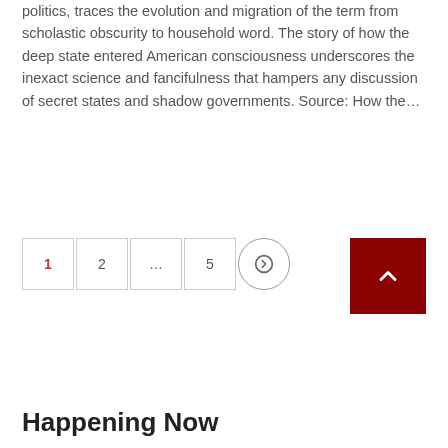politics, traces the evolution and migration of the term from scholastic obscurity to household word. The story of how the deep state entered American consciousness underscores the inexact science and fancifulness that hampers any discussion of secret states and shadow governments. Source: How the…
[Figure (other): Pagination navigation bar with page buttons: 1 (active/red), 2, ..., 5, and a next arrow button. A dark red scroll-to-top button with an up arrow is positioned to the right.]
Happening Now